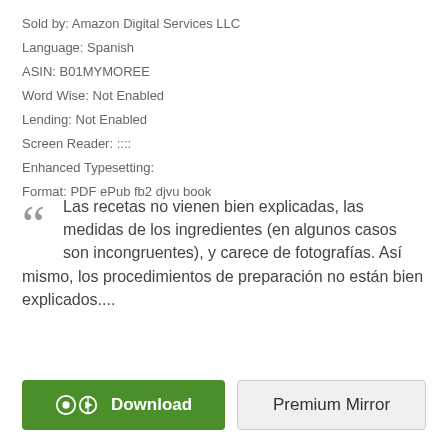Sold by: Amazon Digital Services LLC
Language: Spanish
ASIN: B01MYMOREE
Word Wise: Not Enabled
Lending: Not Enabled
Screen Reader: ::::
Enhanced Typesetting:
Format: PDF ePub fb2 djvu book
Las recetas no vienen bien explicadas, las medidas de los ingredientes (en algunos casos son incongruentes), y carece de fotografías. Así mismo, los procedimientos de preparación no están bien explicados....
[Figure (other): Download button (green) and Premium Mirror button (grey)]